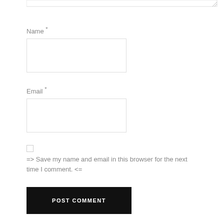[Figure (screenshot): Top edge of a textarea form input with resize handle visible at bottom right]
Name *
[Figure (screenshot): Empty text input field for Name]
Email *
[Figure (screenshot): Empty text input field for Email]
=> Save my name and email in this browser for the next time I comment. <=
POST COMMENT